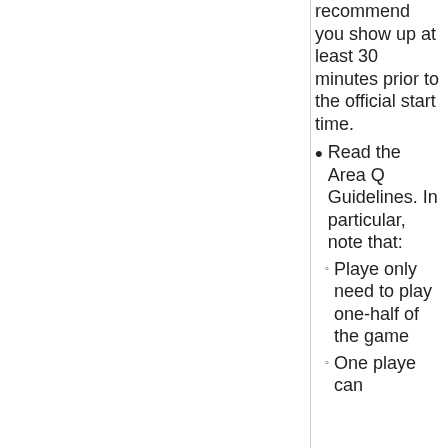recommend you show up at least 30 minutes prior to the official start time.
Read the Area Q Guidelines. In particular, note that:
Players only need to play one-half of the game
One player can